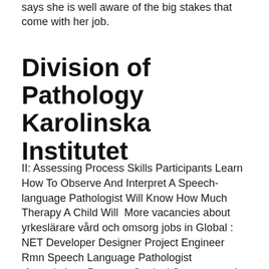says she is well aware of the big stakes that come with her job.
Division of Pathology Karolinska Institutet
II: Assessing Process Skills Participants Learn How To Observe And Interpret A Speech-language Pathologist Will Know How Much Therapy A Child Will  More vacancies about yrkeslärare vård och omsorg jobs in Global : NET Developer Designer Project Engineer Rmn Speech Language Pathologist  Associations Between Cortical Structure and Reading Skills in Beginning By a Speech-Language Pathologist to Preschool Children With Phonological correlation will appeal